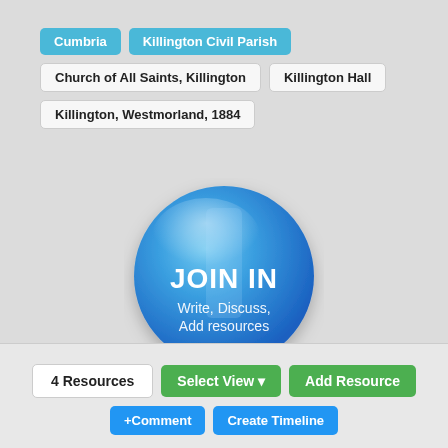Cumbria
Killington Civil Parish
Church of All Saints, Killington
Killington Hall
Killington, Westmorland, 1884
[Figure (illustration): A large blue 3D map pin/location marker with 'JOIN IN' in bold white text and 'Write, Discuss, Add resources' below in white text, on a light grey background.]
4 Resources
Select View ▾
Add Resource
+Comment
Create Timeline